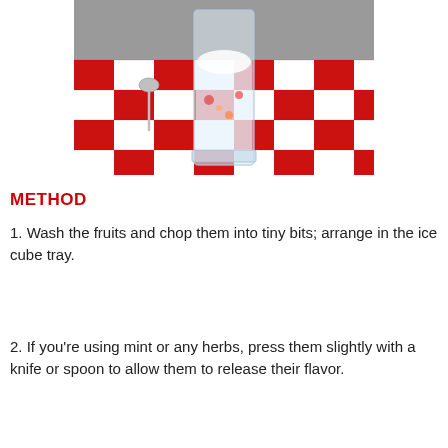[Figure (photo): A glass filled with a clear drink and fruit pieces, sitting on a red and white checkered tablecloth. A spoon is visible to the left.]
METHOD
1. Wash the fruits and chop them into tiny bits; arrange in the ice cube tray.
2. If you're using mint or any herbs, press them slightly with a knife or spoon to allow them to release their flavor.